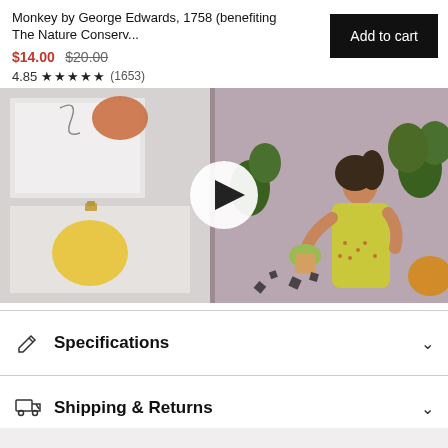Monkey by George Edwards, 1758 (benefiting The Nature Conserv...
$14.00 $20.00
4.85 ★★★★★ (1653)
Add to cart
[Figure (screenshot): Video thumbnail showing decorative wall art prints on a white wall on the left and an illustration of a woman in a yellow dress holding a plant pot surrounded by tropical plants against a lavender background on the right, with a white circular play button in the center.]
Specifications
Shipping & Returns
Questions & Answers